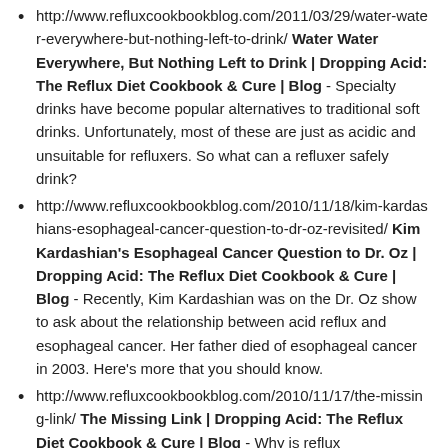http://www.refluxcookbookblog.com/2011/03/29/water-water-everywhere-but-nothing-left-to-drink/ Water Water Everywhere, But Nothing Left to Drink | Dropping Acid: The Reflux Diet Cookbook & Cure | Blog - Specialty drinks have become popular alternatives to traditional soft drinks. Unfortunately, most of these are just as acidic and unsuitable for refluxers. So what can a refluxer safely drink?
http://www.refluxcookbookblog.com/2010/11/18/kim-kardashians-esophageal-cancer-question-to-dr-oz-revisited/ Kim Kardashian's Esophageal Cancer Question to Dr. Oz | Dropping Acid: The Reflux Diet Cookbook & Cure | Blog - Recently, Kim Kardashian was on the Dr. Oz show to ask about the relationship between acid reflux and esophageal cancer. Her father died of esophageal cancer in 2003. Here's more that you should know.
http://www.refluxcookbookblog.com/2010/11/17/the-missing-link/ The Missing Link | Dropping Acid: The Reflux Diet Cookbook & Cure | Blog - Why is reflux